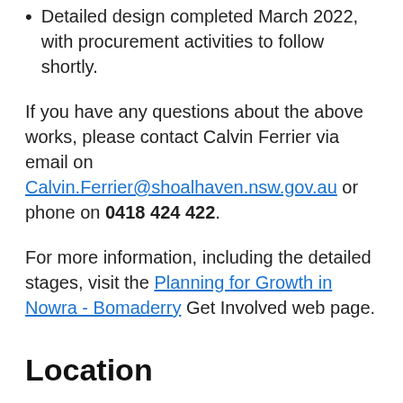Detailed design completed March 2022, with procurement activities to follow shortly.
If you have any questions about the above works, please contact Calvin Ferrier via email on Calvin.Ferrier@shoalhaven.nsw.gov.au or phone on 0418 424 422.
For more information, including the detailed stages, visit the Planning for Growth in Nowra - Bomaderry Get Involved web page.
Location